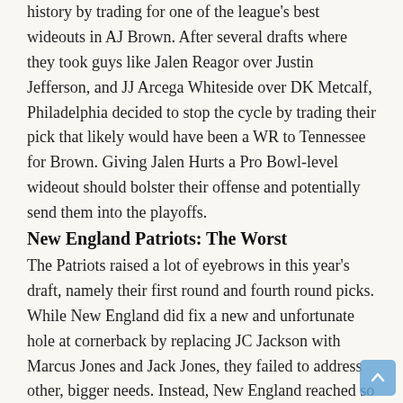history by trading for one of the league's best wideouts in AJ Brown. After several drafts where they took guys like Jalen Reagor over Justin Jefferson, and JJ Arcega Whiteside over DK Metcalf, Philadelphia decided to stop the cycle by trading their pick that likely would have been a WR to Tennessee for Brown. Giving Jalen Hurts a Pro Bowl-level wideout should bolster their offense and potentially send them into the playoffs.
New England Patriots: The Worst
The Patriots raised a lot of eyebrows in this year's draft, namely their first round and fourth round picks. While New England did fix a new and unfortunate hole at cornerback by replacing JC Jackson with Marcus Jones and Jack Jones, they failed to address other, bigger needs. Instead, New England reached so much for first round pick Cole Strange (OL, Chattanooga) that it sparked laughter from Rams head coach Sean McVay. The Pats also chose Western Kentucky quarterback Bailey Zappe in the fourth